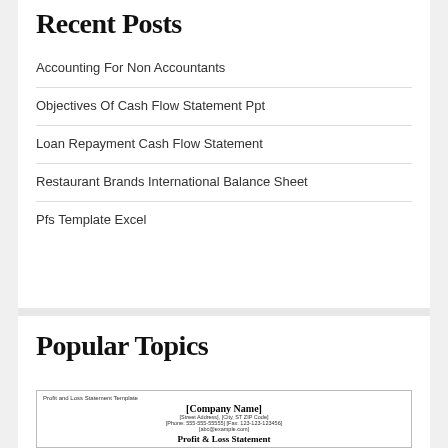Recent Posts
Accounting For Non Accountants
Objectives Of Cash Flow Statement Ppt
Loan Repayment Cash Flow Statement
Restaurant Brands International Balance Sheet
Pfs Template Excel
Popular Topics
[Figure (screenshot): Profit and Loss Statement Template thumbnail showing [Company Name], street address, phone/fax, email, and 'Profit & Loss Statement' heading]